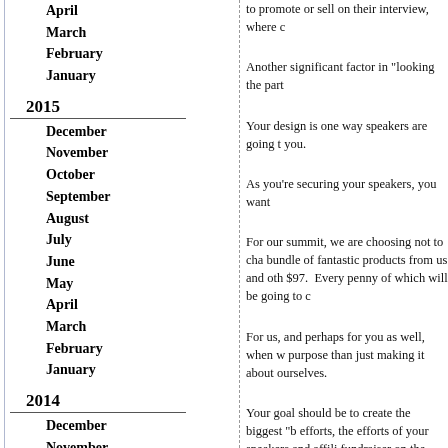April
March
February
January
2015
December
November
October
September
August
July
June
May
April
March
February
January
2014
December
November
October
September
August
July
June
May
April
March
to promote or sell on their interview, where c
Another significant factor in “looking the part
Your design is one way speakers are going t you.
As you’re securing your speakers, you want
For our summit, we are choosing not to cha bundle of fantastic products from us and oth $97.  Every penny of which will be going to c
For us, and perhaps for you as well, when w purpose than just making it about ourselves.
Your goal should be to create the biggest “b efforts, the efforts of your speakers and affili fundraiser on the platform Indiegogo, which
Most entrepreneurs approach situations and
However, when you approach a project like